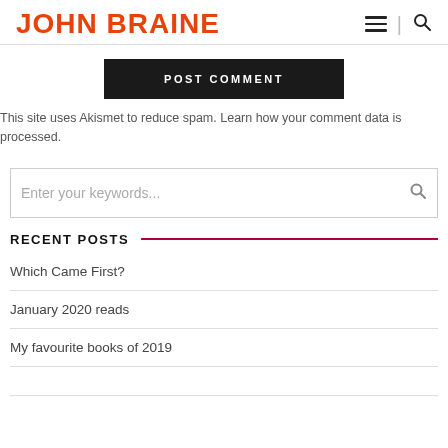JOHN BRAINE
POST COMMENT
This site uses Akismet to reduce spam. Learn how your comment data is processed.
Enter your keywords...
RECENT POSTS
Which Came First?
January 2020 reads
My favourite books of 2019